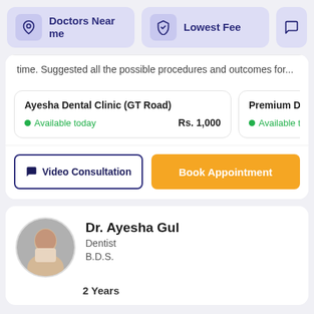[Figure (screenshot): Navigation bar with 'Doctors Near me' button (location pin icon, purple background), 'Lowest Fee' button (shield icon, purple background), and a partially visible third button]
time. Suggested all the possible procedures and outcomes for...
Ayesha Dental Clinic (GT Road)
Available today    Rs. 1,000
Premium Diagn
Available tod
Video Consultation
Book Appointment
Dr. Ayesha Gul
Dentist
B.D.S.
2 Years